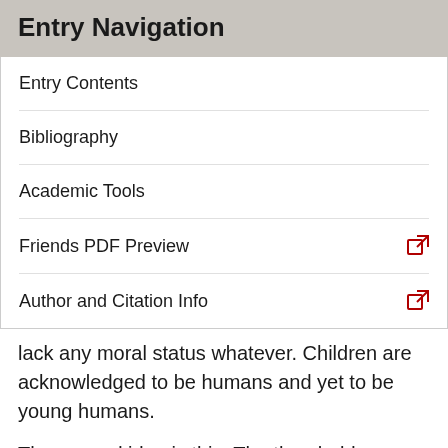Entry Navigation
Entry Contents
Bibliography
Academic Tools
Friends PDF Preview
Author and Citation Info
lack any moral status whatever. Children are acknowledged to be humans and yet to be young humans.
The second idea is this. The threshold age does not mark a significant enough difference. This is a point about marginal differences. A 40-year-old differs greatly from a 4-year-old. Someone who is 18 years and 1 month does not differ greatly from someone who is 17 years and 11 months. It is understandable that the 40-year-old should have rights whereas the 4-year-old should not. But this is not the case for the latter pairing. This is a point about the extent to which real differences between classes are